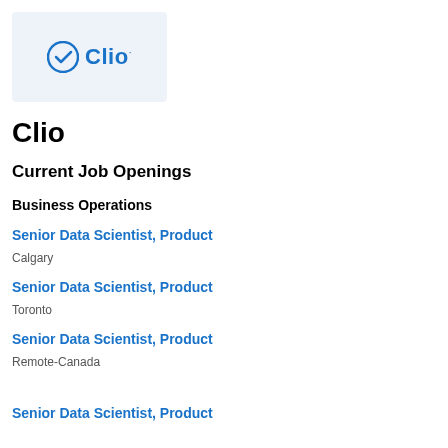[Figure (logo): Clio company logo — circular checkmark icon in blue with the word 'Clio' in blue text on a light blue-grey background]
Clio
Current Job Openings
Business Operations
Senior Data Scientist, Product
Calgary
Senior Data Scientist, Product
Toronto
Senior Data Scientist, Product
Remote-Canada
Senior Data Scientist, Product